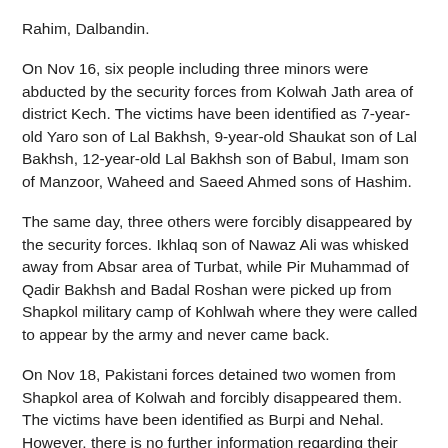Rahim, Dalbandin.
On Nov 16, six people including three minors were abducted by the security forces from Kolwah Jath area of district Kech. The victims have been identified as 7-year-old Yaro son of Lal Bakhsh, 9-year-old Shaukat son of Lal Bakhsh, 12-year-old Lal Bakhsh son of Babul, Imam son of Manzoor, Waheed and Saeed Ahmed sons of Hashim.
The same day, three others were forcibly disappeared by the security forces. Ikhlaq son of Nawaz Ali was whisked away from Absar area of Turbat, while Pir Muhammad of Qadir Bakhsh and Badal Roshan were picked up from Shapkol military camp of Kohlwah where they were called to appear by the army and never came back.
On Nov 18, Pakistani forces detained two women from Shapkol area of Kolwah and forcibly disappeared them. The victims have been identified as Burpi and Nehal. However, there is no further information regarding their whereabouts yet.